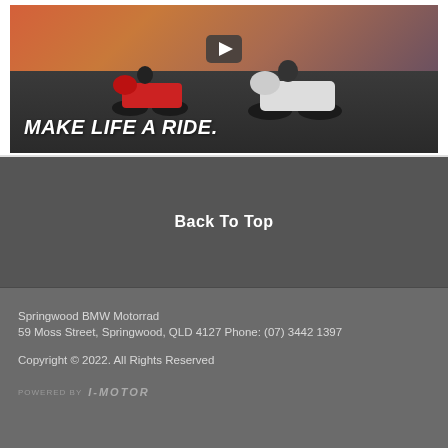[Figure (screenshot): Video thumbnail showing motorcycles racing on a road at dusk/sunset with text overlay 'MAKE LIFE A RIDE.' and a YouTube play button in the center]
Back To Top
Springwood BMW Motorrad
59 Moss Street, Springwood, QLD 4127 Phone: (07) 3442 1397

Copyright © 2022. All Rights Reserved

POWERED BY i-MOTOR